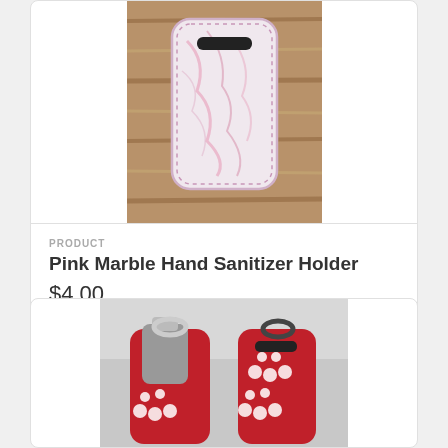[Figure (photo): Pink marble patterned hand sanitizer holder with black slot opening, on a wooden surface. White/pink marbled fabric with dotted border stitching.]
PRODUCT
Pink Marble Hand Sanitizer Holder
$4.00
[Figure (photo): Two red hand sanitizer holders with white paw print pattern, attached to silver key rings. One holder shows a gray sanitizer bottle inserted.]